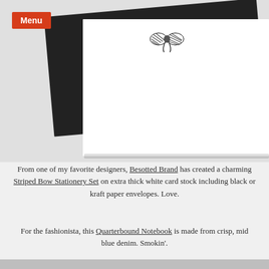[Figure (photo): Product photo showing a black card/envelope behind a white flat note card with a small striped bow motif printed near the top center, on a light gray background]
From one of my favorite designers, Besotted Brand has created a charming Striped Bow Stationery Set on extra thick white card stock including black or kraft paper envelopes. Love.
For the fashionista, this Quarterbound Notebook is made from crisp, mid blue denim. Smokin'.